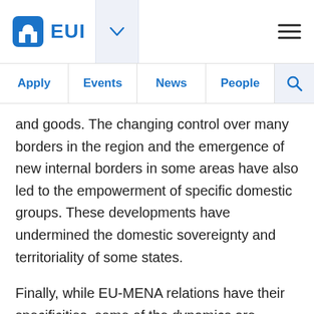EUI — Apply | Events | News | People
and goods. The changing control over many borders in the region and the emergence of new internal borders in some areas have also led to the empowerment of specific domestic groups. These developments have undermined the domestic sovereignty and territoriality of some states.
Finally, while EU-MENA relations have their specificities, some of the dynamics are observable in the EU's relations with other parts of the world and how Africa and the